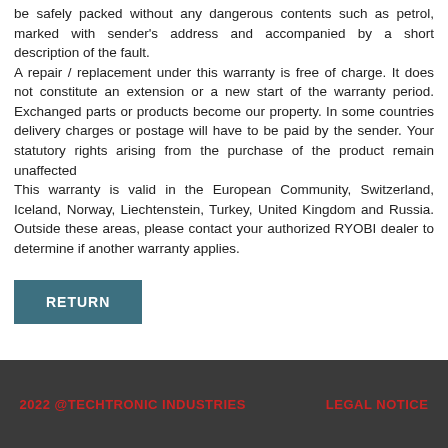be safely packed without any dangerous contents such as petrol, marked with sender's address and accompanied by a short description of the fault.
A repair / replacement under this warranty is free of charge. It does not constitute an extension or a new start of the warranty period. Exchanged parts or products become our property. In some countries delivery charges or postage will have to be paid by the sender. Your statutory rights arising from the purchase of the product remain unaffected
This warranty is valid in the European Community, Switzerland, Iceland, Norway, Liechtenstein, Turkey, United Kingdom and Russia. Outside these areas, please contact your authorized RYOBI dealer to determine if another warranty applies.
RETURN
2022 @TECHTRONIC INDUSTRIES    LEGAL NOTICE